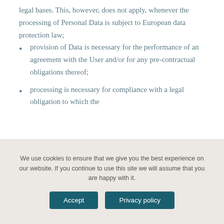legal bases. This, however, does not apply, whenever the processing of Personal Data is subject to European data protection law;
provision of Data is necessary for the performance of an agreement with the User and/or for any pre-contractual obligations thereof;
processing is necessary for compliance with a legal obligation to which the
We use cookies to ensure that we give you the best experience on our website. If you continue to use this site we will assume that you are happy with it.